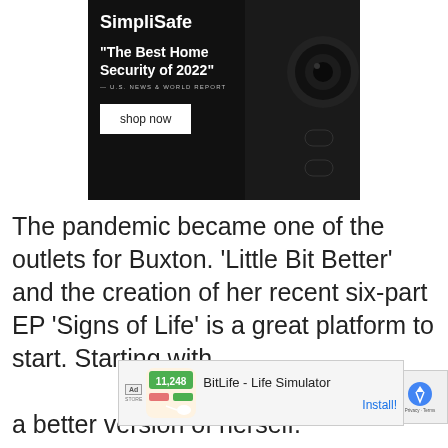[Figure (advertisement): SimpliSafe advertisement banner with black background, white text reading SimpliSafe logo, tagline 'The Best Home Security of 2022' attributed to U.S. News & World Report, a 'shop now' button, and a security camera image on the right.]
The pandemic became one of the outlets for Buxton. 'Little Bit Better' and the creation of her recent six-part EP 'Signs of Life' is a great platform to start. Starting with a better version of herself.
[Figure (advertisement): Overlay ad for BitLife - Life Simulator mobile game with Install button and reCAPTCHA badge.]